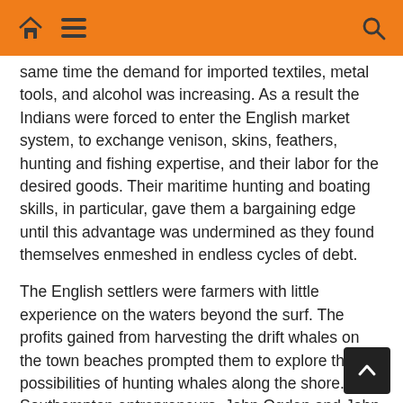navigation bar with home, menu, and search icons
same time the demand for imported textiles, metal tools, and alcohol was increasing. As a result the Indians were forced to enter the English market system, to exchange venison, skins, feathers, hunting and fishing expertise, and their labor for the desired goods. Their maritime hunting and boating skills, in particular, gave them a bargaining edge until this advantage was undermined as they found themselves enmeshed in endless cycles of debt.
The English settlers were farmers with little experience on the waters beyond the surf. The profits gained from harvesting the drift whales on the town beaches prompted them to explore the possibilities of hunting whales along the shore. Two Southampton entrepreneurs, John Ogden and John Cooper, probably learned about whale hunting from the experience of the English Mu... Company that had been whaling north of the Arctic Circle i... early decades of the seventeenth century. The Muscow